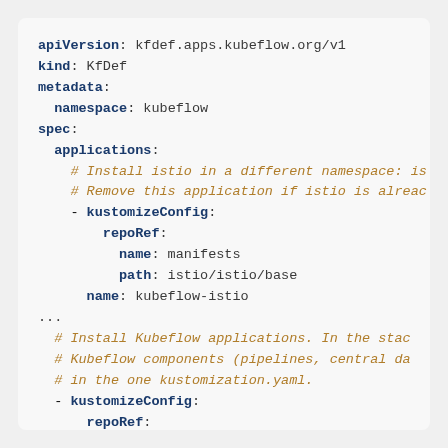apiVersion: kfdef.apps.kubeflow.org/v1
kind: KfDef
metadata:
  namespace: kubeflow
spec:
  applications:
    # Install istio in a different namespace: is
    # Remove this application if istio is alread
    - kustomizeConfig:
        repoRef:
          name: manifests
          path: istio/istio/base
      name: kubeflow-istio
...
  # Install Kubeflow applications. In the stac
  # Kubeflow components (pipelines, central da
  # in the one kustomization.yaml.
  - kustomizeConfig:
      repoRef: